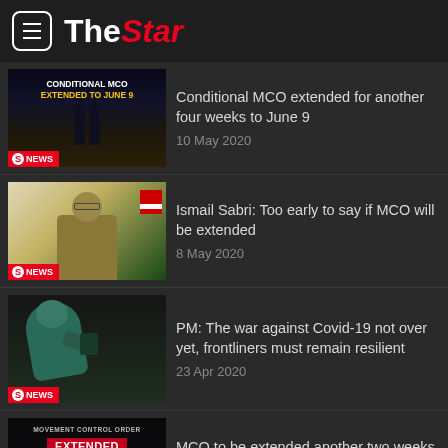The Star
Conditional MCO extended for another four weeks to June 9 — 10 May 2020
Ismail Sabri: Too early to say if MCO will be extended — 8 May 2020
PM: The war against Covid-19 not over yet, frontliners must remain resilient — 23 Apr 2020
MCO to be extended another two weeks to May 12 — 23 Apr 2020